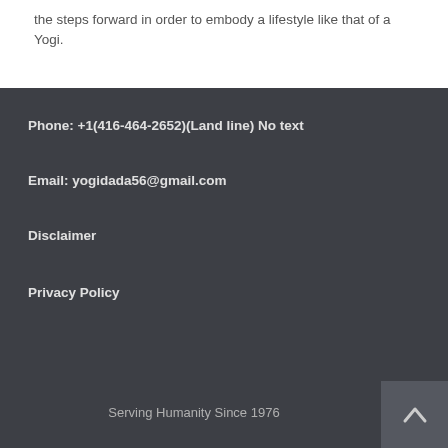the steps forward in order to embody a lifestyle like that of a Yogi.
Phone: +1(416-464-2652)(Land line) No text
Email: yogidada56@gmail.com
Disclaimer
Privacy Policy
Serving Humanity Since 1976